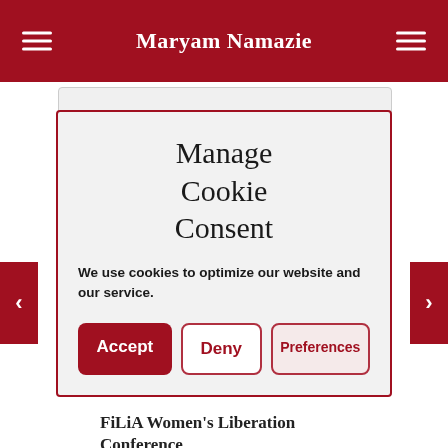Maryam Namazie
Manage Cookie Consent
We use cookies to optimize our website and our service.
Accept
Deny
Preferences
September 10 @ 7:00 pm - 9:00 pm
FiLiA Women's Liberation Conference